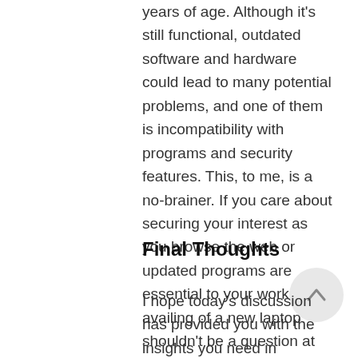years of age. Although it's still functional, outdated software and hardware could lead to many potential problems, and one of them is incompatibility with programs and security features. This, to me, is a no-brainer. If you care about securing your interest as you browse the web or updated programs are essential to your work, then availing of a new laptop shouldn't be a question at all.
Final Thoughts
[Figure (other): Circular scroll-to-top button with an upward arrow icon]
I hope today's discussion has provided you with the insights you need in determining whether you should replace